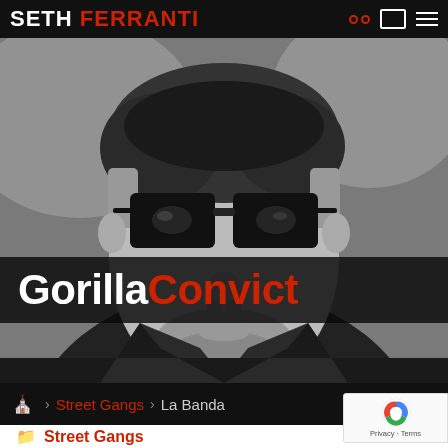SETH FERRANTI
[Figure (photo): Black and white photograph of a man wearing dark sunglasses, with the Gorilla Convict logo overlay banner at the bottom]
Gorilla Convict
Home > Street Gangs > La Banda
Street Gangs